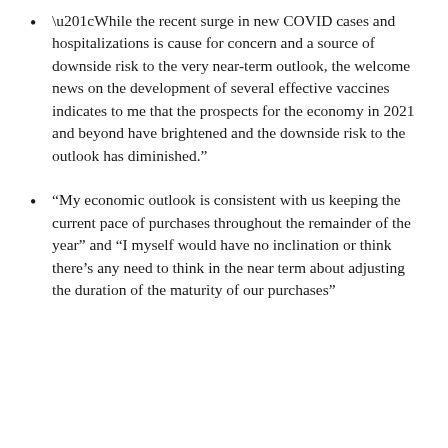“While the recent surge in new COVID cases and hospitalizations is cause for concern and a source of downside risk to the very near-term outlook, the welcome news on the development of several effective vaccines indicates to me that the prospects for the economy in 2021 and beyond have brightened and the downside risk to the outlook has diminished.”
“My economic outlook is consistent with us keeping the current pace of purchases throughout the remainder of the year” and “I myself would have no inclination or think there’s any need to think in the near term about adjusting the duration of the maturity of our purchases”